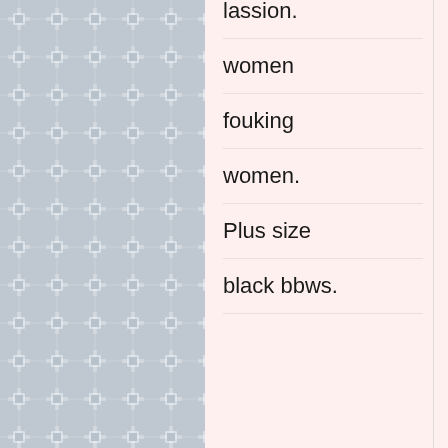lassion. women fouking women. Plus size black bbws.
I would to fuck a mature in Bridg... Texas fo... sex. Liv... pussy fr... Chugwa... festival. Meet pe...